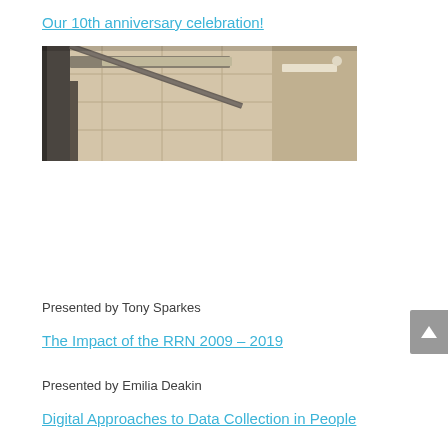Our 10th anniversary celebration!
[Figure (photo): Interior ceiling photo of an office or conference room showing suspended ceiling tiles and fluorescent lighting strips at an angle]
Presented by Tony Sparkes
The Impact of the RRN 2009 – 2019
Presented by Emilia Deakin
Digital Approaches to Data Collection in People